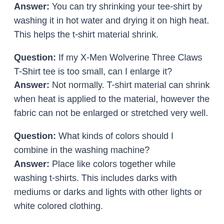Answer: You can try shrinking your tee-shirt by washing it in hot water and drying it on high heat. This helps the t-shirt material shrink.
Question: If my X-Men Wolverine Three Claws T-Shirt tee is too small, can I enlarge it?
Answer: Not normally. T-shirt material can shrink when heat is applied to the material, however the fabric can not be enlarged or stretched very well.
Question: What kinds of colors should I combine in the washing machine?
Answer: Place like colors together while washing t-shirts. This includes darks with mediums or darks and lights with other lights or white colored clothing.
Question: What type of bleach should I use with my X-Men